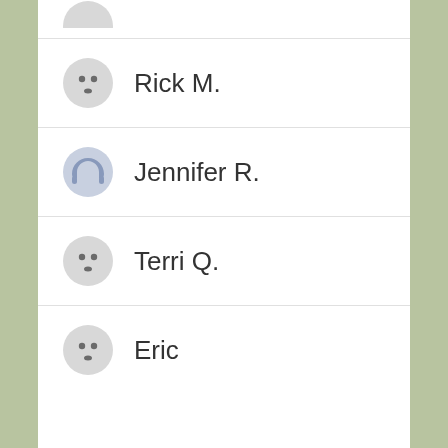Rick M.
Jennifer R.
Terri Q.
Eric